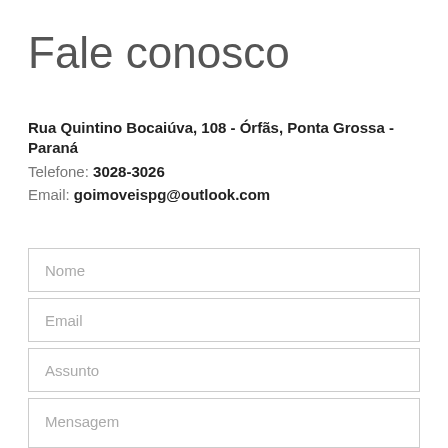Fale conosco
Rua Quintino Bocaiúva, 108 - Órfãs, Ponta Grossa - Paraná
Telefone: 3028-3026
Email: goimoveispg@outlook.com
[Figure (other): Contact form with four input fields: Nome, Email, Assunto, Mensagem]